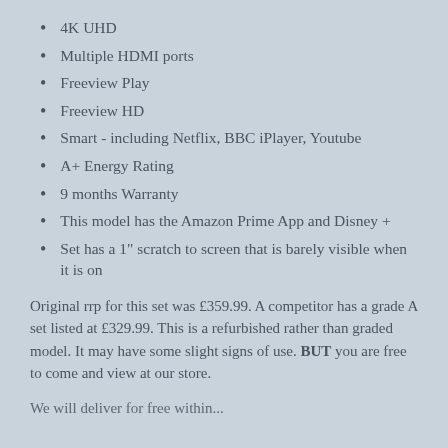4K UHD
Multiple HDMI ports
Freeview Play
Freeview HD
Smart - including Netflix, BBC iPlayer, Youtube
A+ Energy Rating
9 months Warranty
This model has the Amazon Prime App and Disney +
Set has a 1" scratch to screen that is barely visible when it is on
Original rrp for this set was £359.99. A competitor has a grade A set listed at £329.99. This is a refurbished rather than graded model. It may have some slight signs of use. BUT you are free to come and view at our store.
We will deliver for free within...